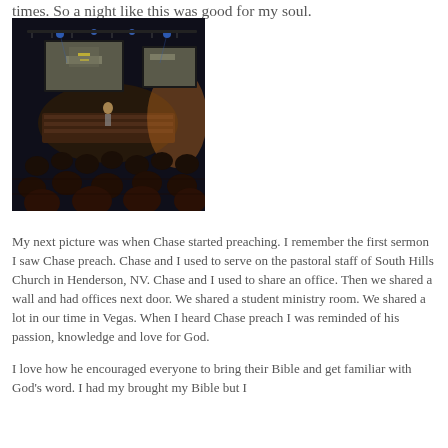times. So a night like this was good for my soul.
[Figure (photo): A church auditorium at night with congregation seated, a speaker on stage, and two large projection screens showing a road image. The lighting is dramatic with blue stage lights and warm ambient glow.]
My next picture was when Chase started preaching. I remember the first sermon I saw Chase preach. Chase and I used to serve on the pastoral staff of South Hills Church in Henderson, NV. Chase and I used to share an office. Then we shared a wall and had offices next door. We shared a student ministry room. We shared a lot in our time in Vegas. When I heard Chase preach I was reminded of his passion, knowledge and love for God.
I love how he encouraged everyone to bring their Bible and get familiar with God's word. I had my brought my Bible but I